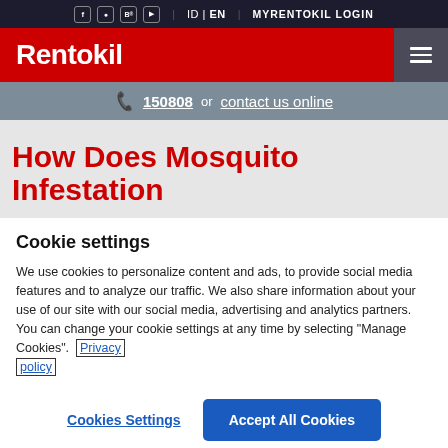f | ID | EN | MYRENTOKIL LOGIN
[Figure (logo): Rentokil logo in white text on red background with dark gray hamburger menu icon on right]
150808 or contact us online
How Does Mosquito Infestation
Cookie settings
We use cookies to personalize content and ads, to provide social media features and to analyze our traffic. We also share information about your use of our site with our social media, advertising and analytics partners. You can change your cookie settings at any time by selecting "Manage Cookies". Privacy policy
Cookies Settings   Accept All Cookies